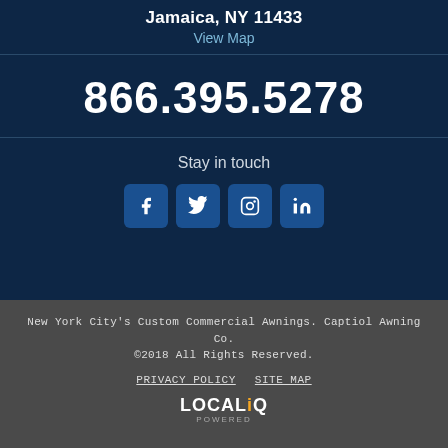Jamaica, NY 11433
View Map
866.395.5278
Stay in touch
[Figure (infographic): Four social media icon buttons: Facebook, Twitter, Instagram, LinkedIn]
New York City's Custom Commercial Awnings. Captiol Awning Co. ©2018 All Rights Reserved.
PRIVACY POLICY  SITE MAP
[Figure (logo): LOCALiQ POWERED logo]